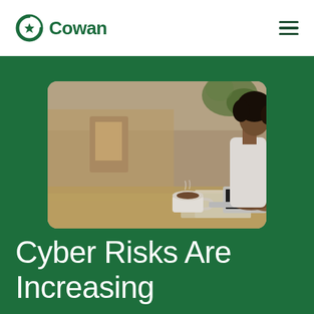Cowan
[Figure (photo): A woman with curly hair sitting at a cafe table, working on a laptop computer with a coffee cup beside her and people blurred in the background]
Cyber Risks Are Increasing